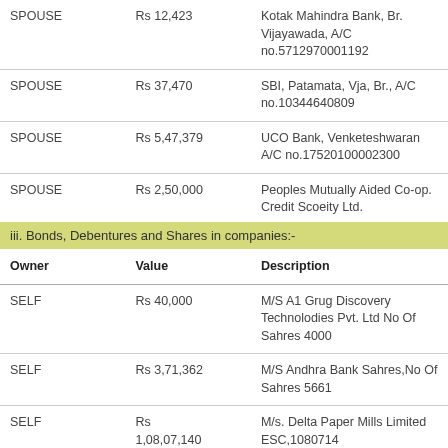| SPOUSE | Rs 12,423 | Kotak Mahindra Bank, Br. Vijayawada, A/C no.5712970001192 |
| SPOUSE | Rs 37,470 | SBI, Patamata, Vja, Br., A/C no.10344640809 |
| SPOUSE | Rs 5,47,379 | UCO Bank, Venketeshwaran A/C no.17520100002300 |
| SPOUSE | Rs 2,50,000 | Peoples Mutually Aided Co-op. Credit Scoeity Ltd. |
iii. Bonds, Debentures and Shares in companies:-
| Owner | Value | Description |
| --- | --- | --- |
| SELF | Rs 40,000 | M/S A1 Grug Discovery Technolodies Pvt. Ltd No Of Sahres 4000 |
| SELF | Rs 3,71,362 | M/S Andhra Bank Sahres,No Of Sahres 5661 |
| SELF | Rs 1,08,07,140 | M/s. Delta Paper Mills Limited ESC,1080714 |
| SELF | Rs 10,78,00,000 | M/s. Delta Paper Mills Limited PCC... |